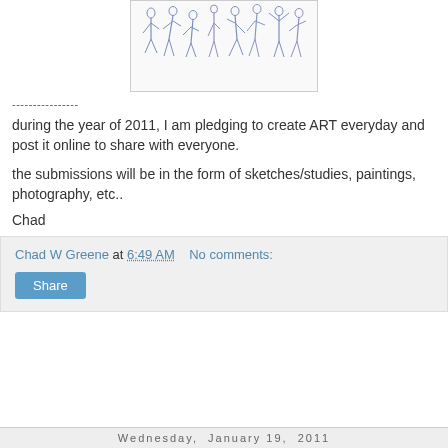[Figure (illustration): Pencil/ink sketches of multiple human figures in various poses, drawn in blue-gray tones on white background]
----------------
during the year of 2011, I am pledging to create ART everyday and post it online to share with everyone.
the submissions will be in the form of sketches/studies, paintings, photography, etc..
Chad
Chad W Greene at 6:49 AM   No comments:
Share
Wednesday, January 19, 2011